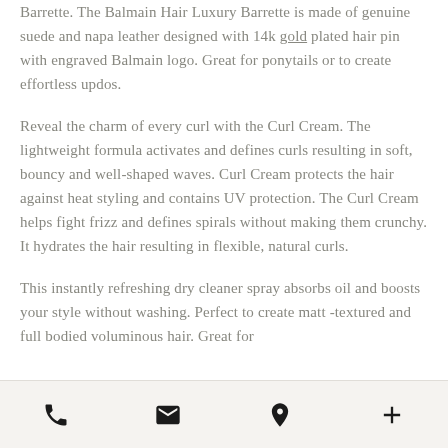Barrette. The Balmain Hair Luxury Barrette is made of genuine suede and napa leather designed with 14k gold plated hair pin with engraved Balmain logo. Great for ponytails or to create effortless updos.
Reveal the charm of every curl with the Curl Cream. The lightweight formula activates and defines curls resulting in soft, bouncy and well-shaped waves. Curl Cream protects the hair against heat styling and contains UV protection. The Curl Cream helps fight frizz and defines spirals without making them crunchy. It hydrates the hair resulting in flexible, natural curls.
This instantly refreshing dry cleaner spray absorbs oil and boosts your style without washing. Perfect to create matt -textured and full bodied voluminous hair. Great for
Phone | Email | Location | Add